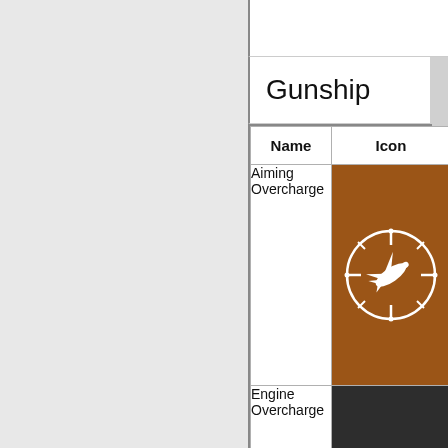Gunship
| Name | Icon |
| --- | --- |
| Aiming Overcharge | [icon: brown background with airplane/gunship in circular target reticle] |
| Engine Overcharge | [icon: dark grey background with soldier/pilot figure and chevrons] |
|  |  |